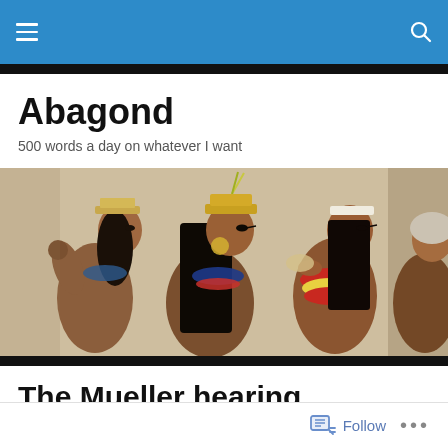Navigation bar with hamburger menu and search icon
Abagond
500 words a day on whatever I want
[Figure (photo): Ancient Egyptian wall painting showing three women in profile with dark hair, headdresses, jewelry and colorful garments against a beige stone background]
The Mueller hearing
[Figure (photo): Partial view of a person with grey/white hair against a grey background, top of head visible]
Follow  ...